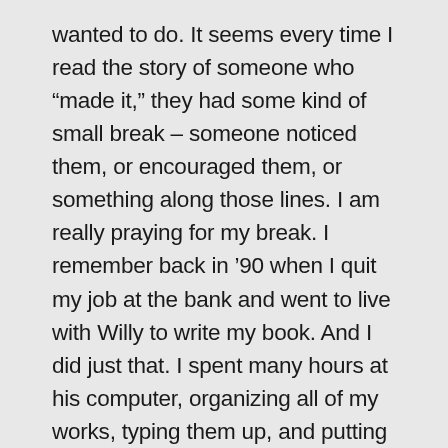wanted to do. It seems every time I read the story of someone who “made it,” they had some kind of small break – someone noticed them, or encouraged them, or something along those lines. I am really praying for my break. I remember back in ’90 when I quit my job at the bank and went to live with Willy to write my book. And I did just that. I spent many hours at his computer, organizing all of my works, typing them up, and putting rough drafts together to send out. And I did just that – sent them out to 10-11 different publishers. So it’s not like I haven’t done it before, and not like I wouldn’t actually complete the work. The difference is back then, I was young and single and could work like 20 hours a week so I would have time to write the book.